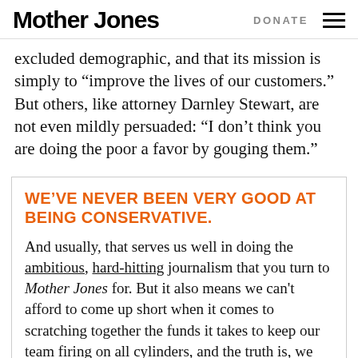Mother Jones | DONATE
excluded demographic, and that its mission is simply to “improve the lives of our customers.” But others, like attorney Darnley Stewart, are not even mildly persuaded: “I don’t think you are doing the poor a favor by gouging them.”
WE’VE NEVER BEEN VERY GOOD AT BEING CONSERVATIVE.
And usually, that serves us well in doing the ambitious, hard-hitting journalism that you turn to Mother Jones for. But it also means we can’t afford to come up short when it comes to scratching together the funds it takes to keep our team firing on all cylinders, and the truth is, we finished our budgeting cycle on June 30